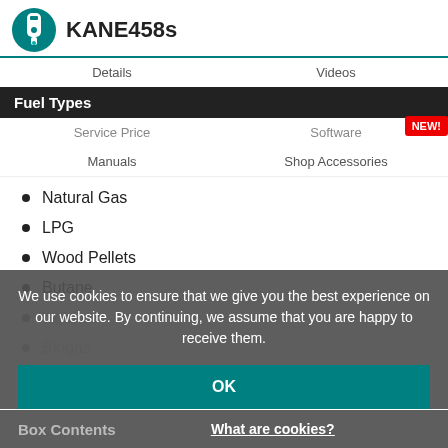KANE458s
Fuel Types
Details   Videos
Service Price   Software   NEW!
Manuals   Shop Accessories
Natural Gas
LPG
Wood Pellets
Butane
Light oil
Biogas
We use cookies to ensure that we give you the best experience on our website. By continuing, we assume that you are happy to receive them.
OK
Box Contents
What are cookies?